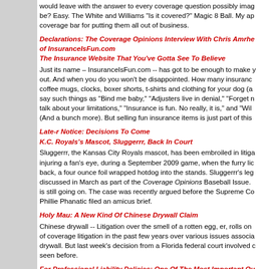would leave with the answer to every coverage question possibly imag... be? Easy. The White and Williams "Is it covered?" Magic 8 Ball. My ap... coverage bar for putting them all out of business.
Declarations: The Coverage Opinions Interview With Chris Amrhe... of InsuranceIsFun.com
The Insurance Website That You've Gotta See To Believe
Just its name – InsuranceIsFun.com -- has got to be enough to make y... out. And when you do you won't be disappointed. How many insuranc... coffee mugs, clocks, boxer shorts, t-shirts and clothing for your dog (a... say such things as "Bind me baby," "Adjusters live in denial," "Forget n... talk about your limitations," "Insurance is fun. No really, it is," and "Wil... (And a bunch more). But selling fun insurance items is just part of this
Late-r Notice: Decisions To Come
K.C. Royals's Mascot, Sluggerrr, Back In Court
Sluggerrr, the Kansas City Royals mascot, has been embroiled in litiga... injuring a fan's eye, during a September 2009 game, when the furry lic... back, a four ounce foil wrapped hotdog into the stands. Sluggerrr's leg... discussed in March as part of the Coverage Opinions Baseball Issue. ... is still going on. The case was recently argued before the Supreme Co... Phillie Phanatic filed an amicus brief.
Holy Mau: A New Kind Of Chinese Drywall Claim
Chinese drywall -- Litigation over the smell of a rotten egg, er, rolls on... of coverage litigation in the past few years over various issues associa... drywall. But last week's decision from a Florida federal court involved c... seen before.
For Professional Liability Policies: One Of The Most Important Qu...